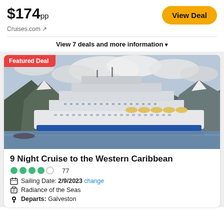$174pp
Cruises.com ↗
View Deal
View 7 deals and more information ▼
[Figure (photo): Large cruise ship with white hull docked in a mountainous fjord with cloudy sky. Badge: Featured Deal.]
9 Night Cruise to the Western Caribbean
77 (4 out of 5 circles rating)
Sailing Date: 2/9/2023 change
Radiance of the Seas
Departs: Galveston